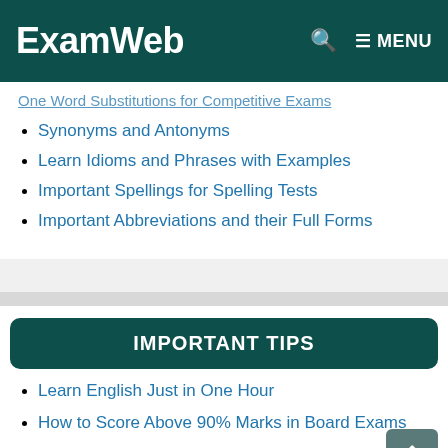ExamWeb | MENU
One Word Substitutions for Competitive Exams
Synonyms and Antonyms
Learn Idioms and Phrases with Examples
Important Spellings for Spelling Tests
Important Abbreviations and their Full Forms
IMPORTANT TIPS
Learn English Just in One Hour
How to Score Above 90% Marks in Board Exams
How to Improve English Pronunciation